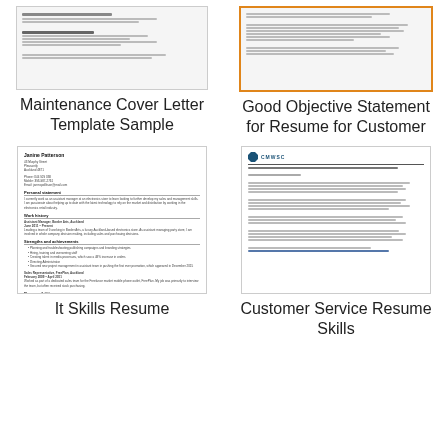[Figure (screenshot): Thumbnail of a Maintenance Cover Letter Template Sample document]
Maintenance Cover Letter Template Sample
[Figure (screenshot): Thumbnail of a Good Objective Statement for Resume for Customer Service Valid document with orange border]
Good Objective Statement for Resume for Customer Service Valid
[Figure (screenshot): Thumbnail of Janine Patterson resume - It Skills Resume]
It Skills Resume
[Figure (screenshot): Thumbnail of CMWSC customer service resume skills letter document]
Customer Service Resume Skills